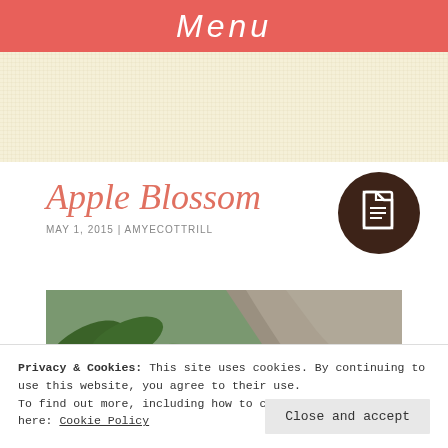Menu
Apple Blossom
MAY 1, 2015 | AMYECOTTRILL
[Figure (logo): Dark brown circular document/file icon]
[Figure (photo): Close-up photo of apple tree branch with green leaves and grey bark/rock]
Privacy & Cookies: This site uses cookies. By continuing to use this website, you agree to their use.
To find out more, including how to control cookies, see here: Cookie Policy
[Figure (photo): Partial view of pink apple blossom flowers at bottom of page]